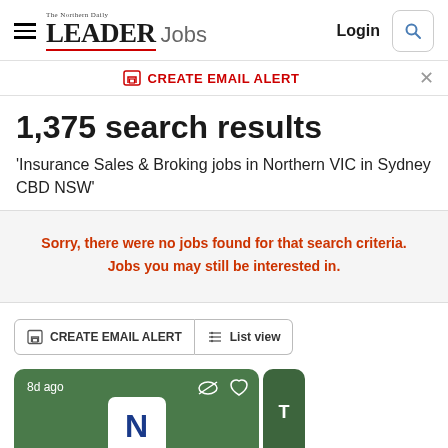[Figure (screenshot): Website header with hamburger menu, The Northern Daily Leader Jobs logo, Login link, and search icon button]
CREATE EMAIL ALERT
1,375 search results
'Insurance Sales & Broking jobs in Northern VIC in Sydney CBD NSW'
Sorry, there were no jobs found for that search criteria. Jobs you may still be interested in.
CREATE EMAIL ALERT
List view
8d ago